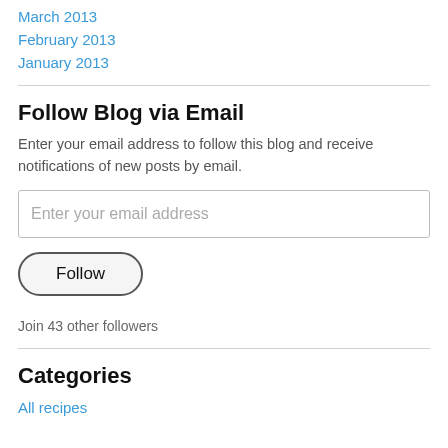March 2013
February 2013
January 2013
Follow Blog via Email
Enter your email address to follow this blog and receive notifications of new posts by email.
Enter your email address
Follow
Join 43 other followers
Categories
All recipes